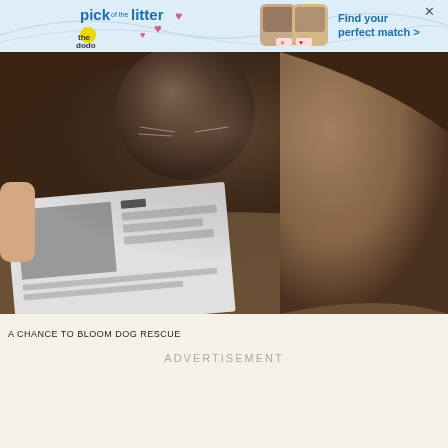[Figure (illustration): Advertisement banner for 'pick of the litter' by The Dodo showing pet adoption cards with cat and dog photos, with text 'Find your perfect match >']
[Figure (photo): Close-up photo of a cat and dog together, with a newspaper visible in the foreground and a human hand partially visible on the left]
A CHANCE TO BLOOM DOG RESCUE
ADVERTISEMENT